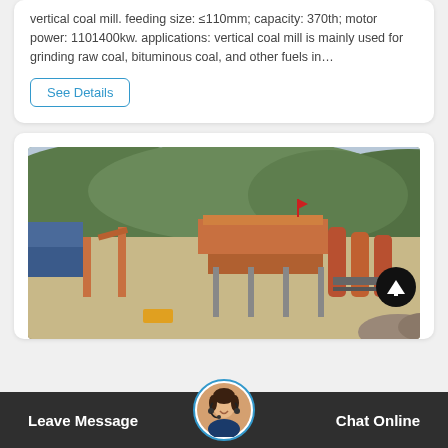vertical coal mill. feeding size: ≤110mm; capacity: 370th; motor power: 1101400kw. applications: vertical coal mill is mainly used for grinding raw coal, bituminous coal, and other fuels in…
See Details
[Figure (photo): Aerial/elevated view of an industrial mining or crushing plant with orange/red conveyor systems and machinery, set against a hillside with trees. A blue building is visible on the left. Sandy/rocky ground surrounds the equipment.]
Leave Message
Chat Online